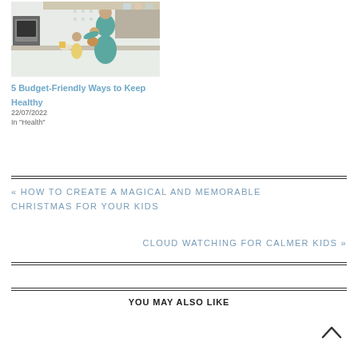[Figure (photo): A man in a teal/green polo shirt in a kitchen, holding a baby, with a young girl beside him, appearing to be cooking or preparing food together.]
5 Budget-Friendly Ways to Keep Healthy
22/07/2022
In "Health"
« HOW TO CREATE A MAGICAL AND MEMORABLE CHRISTMAS FOR YOUR KIDS
CLOUD WATCHING FOR CALMER KIDS »
YOU MAY ALSO LIKE